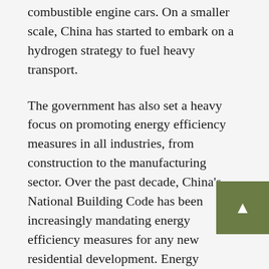combustible engine cars. On a smaller scale, China has started to embark on a hydrogen strategy to fuel heavy transport.
The government has also set a heavy focus on promoting energy efficiency measures in all industries, from construction to the manufacturing sector. Over the past decade, China's National Building Code has been increasingly mandating energy efficiency measures for any new residential development. Energy efficiency measures have also become mandatory; for instance, the chemical industry is lowering primary energy consumption and thus reducing carbon emissions. These measures have among others led to a continued decline of overall carbon intensity by around 4% per year.
China has also been stepping up its efforts to